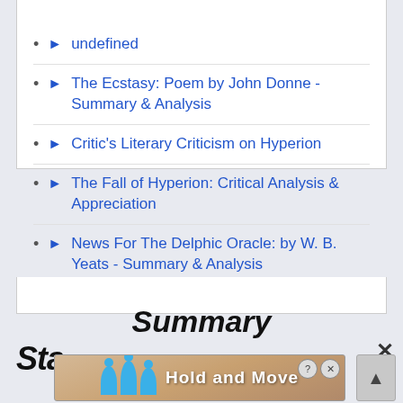undefined
The Ecstasy: Poem by John Donne - Summary & Analysis
Critic's Literary Criticism on Hyperion
The Fall of Hyperion: Critical Analysis & Appreciation
News For The Delphic Oracle: by W. B. Yeats - Summary & Analysis
Summary
[Figure (screenshot): Advertisement banner showing 'Hold and Move' with blue cartoon figures and close/help buttons]